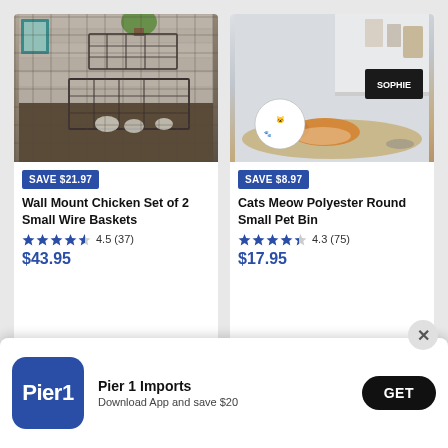[Figure (photo): Photo of wall mount chicken wire baskets set of 2, shown mounted on a white shiplap wall with a teal picture frame and plant]
SAVE $21.97
Wall Mount Chicken Set of 2 Small Wire Baskets
4.5 (37)
$43.95
[Figure (photo): Photo of an orange/white cat lying on a tan woven rug next to a Cats Meow fabric bin, beneath a white shelf with a SOPHIE framed sign]
SAVE $8.97
Cats Meow Polyester Round Small Pet Bin
4.3 (75)
$17.95
[Figure (screenshot): Pier 1 Imports app download banner with logo, text 'Pier 1 Imports – Download App and save $20' and a GET button, with an X close button]